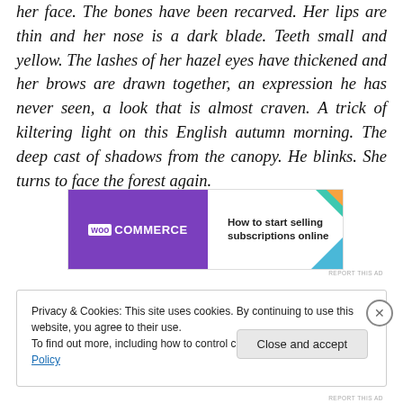her face. The bones have been recarved. Her lips are thin and her nose is a dark blade. Teeth small and yellow. The lashes of her hazel eyes have thickened and her brows are drawn together, an expression he has never seen, a look that is almost craven. A trick of kiltering light on this English autumn morning. The deep cast of shadows from the canopy. He blinks. She turns to face the forest again.
[Figure (other): WooCommerce advertisement banner: 'How to start selling subscriptions online']
Privacy & Cookies: This site uses cookies. By continuing to use this website, you agree to their use.
To find out more, including how to control cookies, see here: Cookie Policy
Close and accept